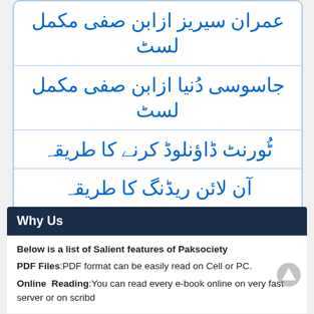عمران سیریز ازابن صفی مکمل لسٹ
جاسوسی دُنیا ازابن صفی مکمل لسٹ
ٹُورنٹ ڈاؤنلوڈ کرنے کا طریقہ
آن لائن ریڈنگ کا طریقہ
ایڈوب ریڈر ڈاؤن لوڈ لنک
Why Us
Below is a list of Salient features of Paksociety
PDF Files:PDF format can be easily read on Cell or PC.
Online Reading:You can read every e-book online on very fast server or on scribd